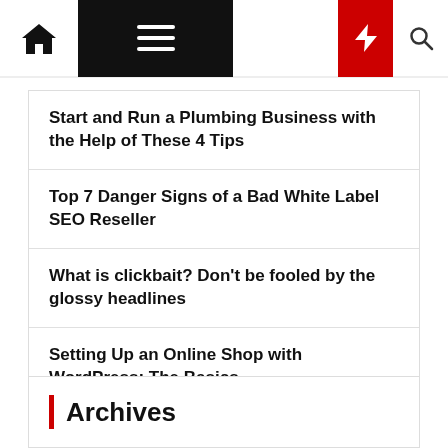Navigation bar with home, menu, moon, bolt, and search icons
Start and Run a Plumbing Business with the Help of These 4 Tips
Top 7 Danger Signs of a Bad White Label SEO Reseller
What is clickbait? Don't be fooled by the glossy headlines
Setting Up an Online Shop with WordPress: The Basics
Things To Check Before Selecting A Broadband Connection
Archives